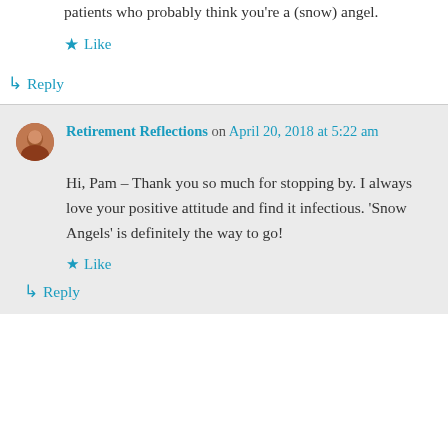patients who probably think you're a (snow) angel.
★ Like
↳ Reply
Retirement Reflections on April 20, 2018 at 5:22 am
Hi, Pam – Thank you so much for stopping by. I always love your positive attitude and find it infectious. 'Snow Angels' is definitely the way to go!
★ Like
↳ Reply